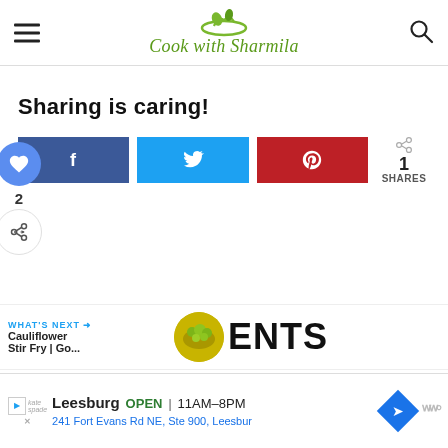Cook with Sharmila
Sharing is caring!
[Figure (infographic): Social share buttons: Facebook (blue), Twitter (cyan), Pinterest (red), plus share count showing 1 SHARES. Below: heart/save button (blue circle), likes count 2, and share button.]
[Figure (infographic): What's Next panel: Cauliflower Stir Fry | Go... with thumbnail, and partially visible ENTS heading (COMMENTS).]
[Figure (infographic): Advertisement bar: Kate Spade ad - Leesburg OPEN 11AM-8PM, 241 Fort Evans Rd NE, Ste 900, Leesbur]